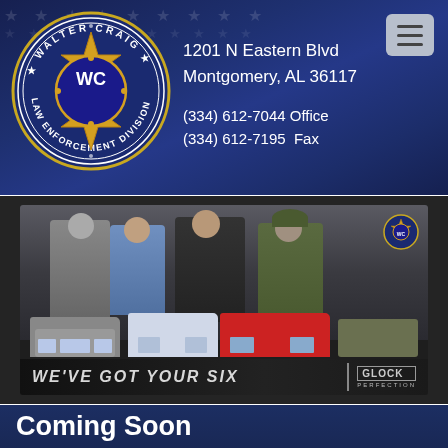[Figure (logo): Walter Craig Law Enforcement Division circular badge logo with gold star, blue center with WC initials, gold star border and white text ring]
1201 N Eastern Blvd
Montgomery, AL 36117

(334) 612-7044 Office
(334) 612-7195  Fax
[Figure (photo): Law enforcement promotional banner showing four personnel (firefighter, EMT, police officer, soldier) standing behind emergency vehicles (police SUV, ambulance, fire truck, military vehicle) with text WE'VE GOT YOUR SIX and Glock Perfection logo]
Coming Soon